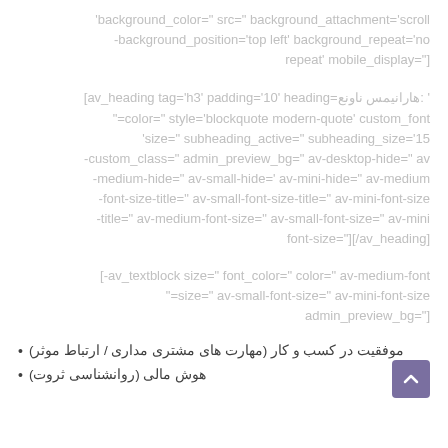background_color=" src=" background_attachment='scroll' background_position='top left' background_repeat='no-repeat' mobile_display["=
[heading av_heading tag='h3' padding='10' heading='عنوان سمینارها:' color=" style='blockquote modern-quote' custom_font=" size=" subheading_active=" subheading_size='15' custom_class=" admin_preview_bg=" av-desktop-hide=" av-medium-hide=" av-small-hide=" av-mini-hide=" av-medium-font-size-title=" av-small-font-size-title=" av-mini-font-size-title=" av-medium-font-size=" av-small-font-size=" av-mini-font-size="][/av_heading]
[av_textblock size=" font_color=" color=" av-medium-font-size=" av-small-font-size=" av-mini-font-size=" admin_preview_bg="]
موفقیت در کسب و کار (مهارت های مشتری مداری / ارتباط موثر)
هوش مالی (روانشناسی ثروت)